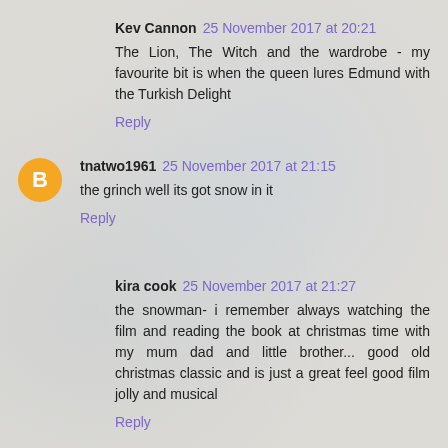Kev Cannon 25 November 2017 at 20:21
The Lion, The Witch and the wardrobe - my favourite bit is when the queen lures Edmund with the Turkish Delight
Reply
tnatwo1961 25 November 2017 at 21:15
the grinch well its got snow in it
Reply
kira cook 25 November 2017 at 21:27
the snowman- i remember always watching the film and reading the book at christmas time with my mum dad and little brother... good old christmas classic and is just a great feel good film jolly and musical
Reply